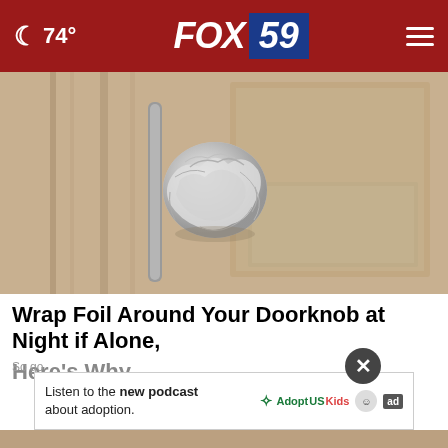74° FOX 59
[Figure (photo): A door knob wrapped in aluminum/tin foil on a beige interior door]
Wrap Foil Around Your Doorknob at Night if Alone, Here's Why
So go
[Figure (infographic): Advertisement banner: Listen to the new podcast about adoption. Adopt US Kids logo, HHS logo, ad badge.]